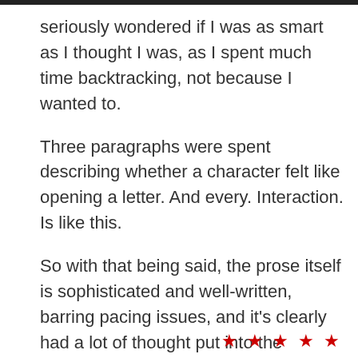seriously wondered if I was as smart as I thought I was, as I spent much time backtracking, not because I wanted to.
Three paragraphs were spent describing whether a character felt like opening a letter. And every. Interaction. Is like this.
So with that being said, the prose itself is sophisticated and well-written, barring pacing issues, and it's clearly had a lot of thought put into the logistics. The fantastical elements are utterly fantastic! It's just too much of a slog for me.